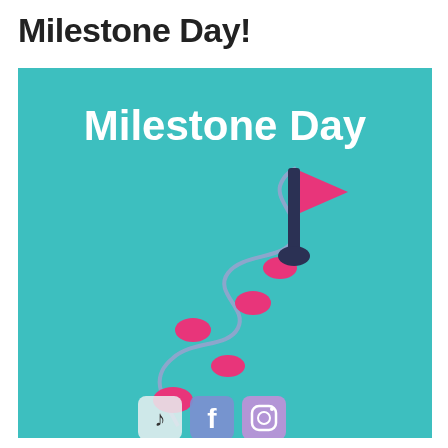Milestone Day!
[Figure (illustration): Teal/turquoise square image with bold white text 'Milestone Day' at the top, and a winding path illustration with pink circular dots leading to a flag (dark navy pole with pink triangular flag) at the top. At the bottom of the image are social media icons including TikTok, Facebook, and Instagram logos.]